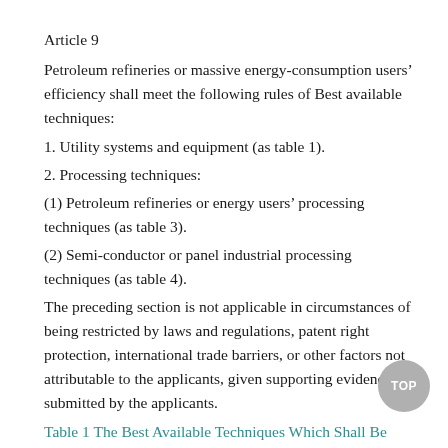Article 9
Petroleum refineries or massive energy-consumption users' efficiency shall meet the following rules of Best available techniques:
1. Utility systems and equipment (as table 1).
2. Processing techniques:
(1) Petroleum refineries or energy users' processing techniques (as table 3).
(2) Semi-conductor or panel industrial processing techniques (as table 4).
The preceding section is not applicable in circumstances of being restricted by laws and regulations, patent right protection, international trade barriers, or other factors not attributable to the applicants, given supporting evidence are submitted by the applicants.
Table 1 The Best Available Techniques Which Shall Be